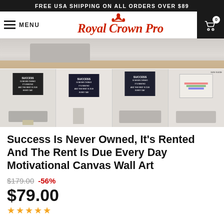FREE USA SHIPPING ON ALL ORDERS OVER $89
[Figure (screenshot): Royal Crown Pro navigation bar with hamburger menu, logo in red cursive script, and black cart icon with 0 badge]
[Figure (photo): Room preview showing sofa and wall art canvas]
[Figure (photo): Four product thumbnails showing 'Success Is Never Owned It's Rented And The Rent Is Due Every Day' canvas wall art in different room settings]
Success Is Never Owned, It's Rented And The Rent Is Due Every Day Motivational Canvas Wall Art
$179.00 -56%
$79.00